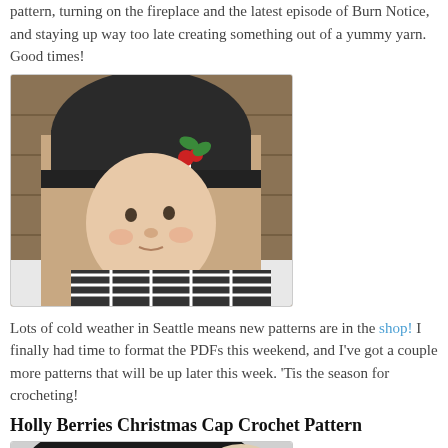pattern, turning on the fireplace and the latest episode of Burn Notice, and staying up way too late creating something out of a yummy yarn. Good times!
[Figure (photo): Baby wearing a dark crocheted hat with holly berries decoration and a black and white checkered bow, dressed in a black and white plaid outfit, photographed in a snowy outdoor setting.]
Lots of cold weather in Seattle means new patterns are in the shop! I finally had time to format the PDFs this weekend, and I've got a couple more patterns that will be up later this week. 'Tis the season for crocheting!
Holly Berries Christmas Cap Crochet Pattern
[Figure (photo): Close-up of a dark black crocheted hat with a small green holly decoration visible at the bottom, displayed on a light background.]